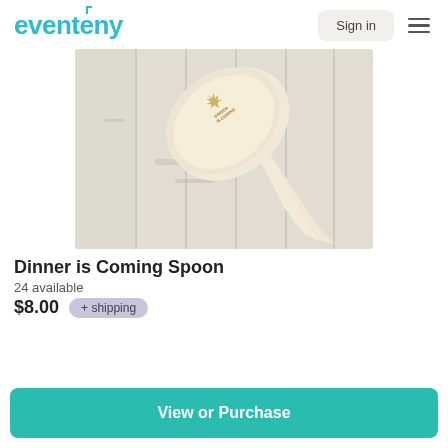eventeny
[Figure (photo): A wooden spoon with 'Dinner is Coming' engraved on it, placed on a distressed white wood surface.]
Dinner is Coming Spoon
24 available
$8.00  + shipping
View or Purchase